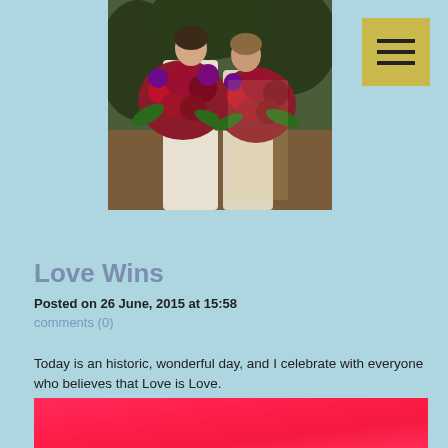[Figure (photo): Two brides in white wedding dresses holding large red and purple floral bouquets, standing outdoors with greenery in the background]
[Figure (other): Hamburger menu icon button with three horizontal lines on a golden/yellow square background]
Love Wins
Posted on 26 June, 2015 at 15:58
comments (0)
Today is an historic, wonderful day, and I celebrate with everyone who believes that Love is Love.
[Figure (photo): Bottom portion of a photo showing bright red/pink fabric or background, partially visible at the bottom of the page]